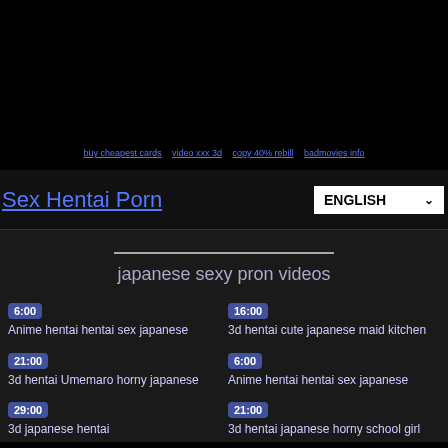[Figure (screenshot): Black top banner area with ad links]
buy cheapest cards | video xxx 3d | copy 40% rebill | badmovies info
Sex Hentai Porn
ENGLISH
japanese sexy pron videos
6:00 Anime hentai hentai sex japanese
16:00 3d hentai cute japanese maid kitchen
21:00 3d hentai Umemaro horny japanese
6:00 Anime hentai hentai sex japanese
29:00 3d japanese hentai
21:00 3d hentai japanese horny school girl